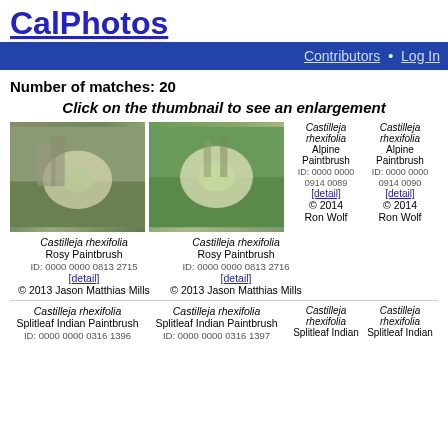CalPhotos
Contributors • Log In
Number of matches: 20
Click on the thumbnail to see an enlargement
[Figure (photo): Photo of Castilleja rhexifolia (Rosy Paintbrush) flower, whitish blooms against rocky background]
[Figure (photo): Photo of Castilleja rhexifolia (Rosy Paintbrush) flower, whitish-yellow blooms against green foliage]
Castilleja rhexifolia Rosy Paintbrush ID: 0000 0000 0813 2715 [detail] © 2013 Jason Matthias Mills
Castilleja rhexifolia Rosy Paintbrush ID: 0000 0000 0813 2716 [detail] © 2013 Jason Matthias Mills
Castilleja rhexifolia Alpine Paintbrush ID: 0000 0000 0914 0089 [detail] © 2014 Ron Wolf
Castilleja rhexifolia Alpine Paintbrush ID: 0000 0000 0914 0090 [detail] © 2014 Ron Wolf
Castilleja rhexifolia Splitleaf Indian Paintbrush ID: 0000 0000 0316 1396
Castilleja rhexifolia Splitleaf Indian Paintbrush ID: 0000 0000 0316 1397
Castilleja rhexifolia Splitleaf Indian
Castilleja rhexifolia Splitleaf Indian